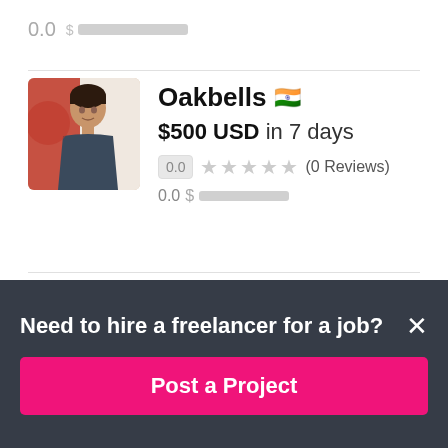0.0  $ ██████████
[Figure (photo): Profile photo of a young woman against a red and white background]
Oakbells 🇮🇳
$500 USD in 7 days
0.0 ★★★★★ (0 Reviews)
0.0  $ ██████████
Need to hire a freelancer for a job?
Post a Project